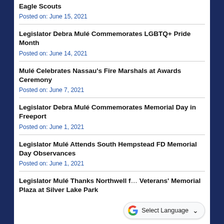Eagle Scouts
Posted on: June 15, 2021
Legislator Debra Mulé Commemorates LGBTQ+ Pride Month
Posted on: June 14, 2021
Mulé Celebrates Nassau's Fire Marshals at Awards Ceremony
Posted on: June 7, 2021
Legislator Debra Mulé Commemorates Memorial Day in Freeport
Posted on: June 1, 2021
Legislator Mulé Attends South Hempstead FD Memorial Day Observances
Posted on: June 1, 2021
Legislator Mulé Thanks Northwell f… Veterans' Memorial Plaza at Silver Lake Park